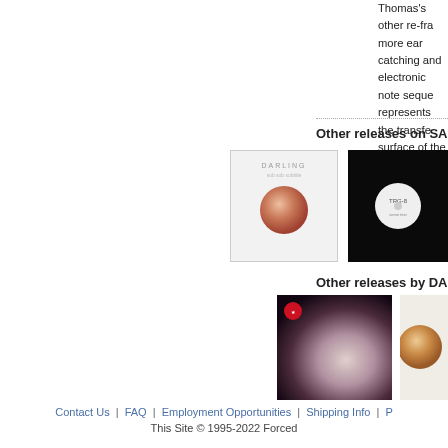Thomas's other re-fra... more ear catching and... electronic note seque... represents the transfe... surface of the Earth, t... significant breakthou...
Other releases on SAFR
[Figure (photo): Album cover: DARLING white sleeve with pink/brown circular label]
[Figure (photo): Album cover: black sleeve with white circular label]
Other releases by DAR
[Figure (photo): Album cover: dark purple/black with radial gradient and red dot logo]
[Figure (photo): Album cover: light beige with copper circle]
Contact Us | FAQ | Employment Opportunities | Shipping Info | P
This Site © 1995-2022 Forced